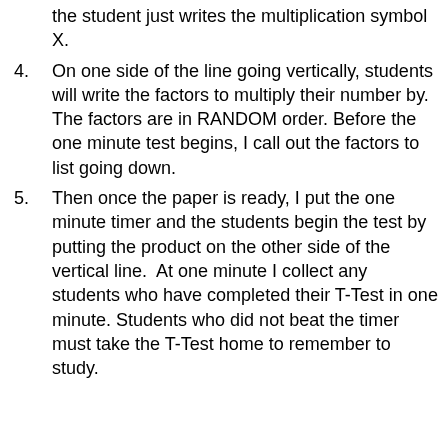the student just writes the multiplication symbol X.
4. On one side of the line going vertically, students will write the factors to multiply their number by. The factors are in RANDOM order. Before the one minute test begins, I call out the factors to list going down.
5. Then once the paper is ready, I put the one minute timer and the students begin the test by putting the product on the other side of the vertical line. At one minute I collect any students who have completed their T-Test in one minute. Students who did not beat the timer must take the T-Test home to remember to study.